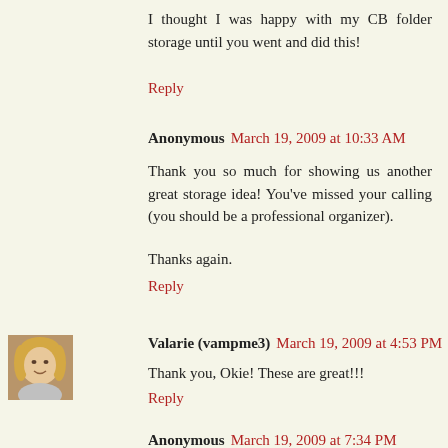I thought I was happy with my CB folder storage until you went and did this!
Reply
Anonymous  March 19, 2009 at 10:33 AM
Thank you so much for showing us another great storage idea! You've missed your calling (you should be a professional organizer).
Thanks again.
Reply
[Figure (photo): Small avatar photo of a blonde woman]
Valarie (vampme3)  March 19, 2009 at 4:53 PM
Thank you, Okie! These are great!!!
Reply
Anonymous  March 19, 2009 at 7:34 PM